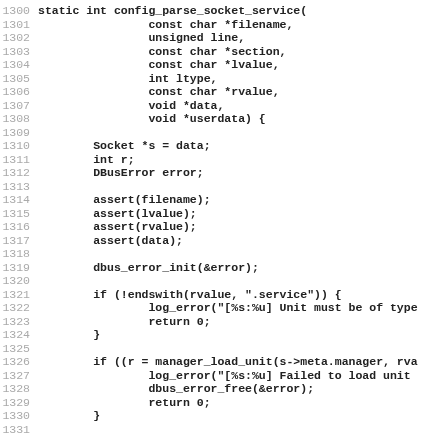[Figure (other): Source code listing in C, lines 1300-1331, showing the function config_parse_socket_service with parameters and body including assertions, dbus_error_init, and conditional blocks.]